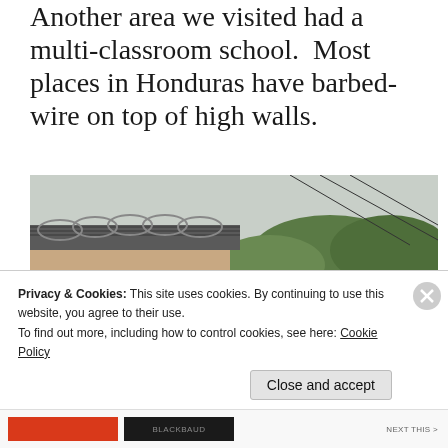Another area we visited had a multi-classroom school.  Most places in Honduras have barbed-wire on top of high walls.
[Figure (photo): Outdoor photo showing a group of people in blue shirts queuing to enter a building with barbed wire coiled on top of the walls. The building has a corrugated metal roof. Other buildings and trees are visible in the background under an overcast sky.]
Privacy & Cookies: This site uses cookies. By continuing to use this website, you agree to their use.
To find out more, including how to control cookies, see here: Cookie Policy
Close and accept